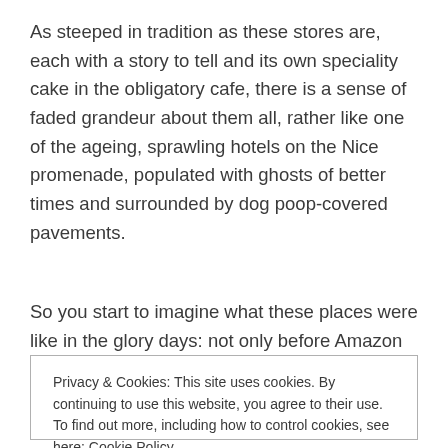As steeped in tradition as these stores are, each with a story to tell and its own speciality cake in the obligatory cafe, there is a sense of faded grandeur about them all, rather like one of the ageing, sprawling hotels on the Nice promenade, populated with ghosts of better times and surrounded by dog poop-covered pavements.
So you start to imagine what these places were like in the glory days: not only before Amazon started
Privacy & Cookies: This site uses cookies. By continuing to use this website, you agree to their use.
To find out more, including how to control cookies, see here: Cookie Policy
[Button: Close and accept]